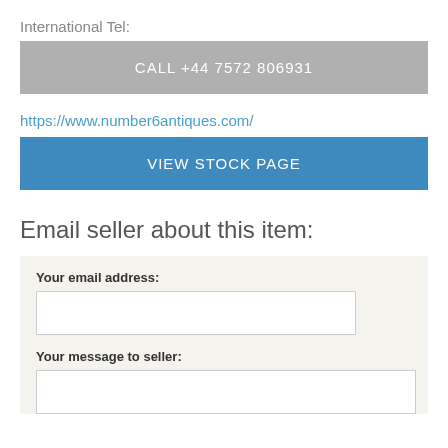International Tel:
CALL +44 7572 806931
https://www.number6antiques.com/
VIEW STOCK PAGE
Email seller about this item:
Your email address:
Your message to seller: